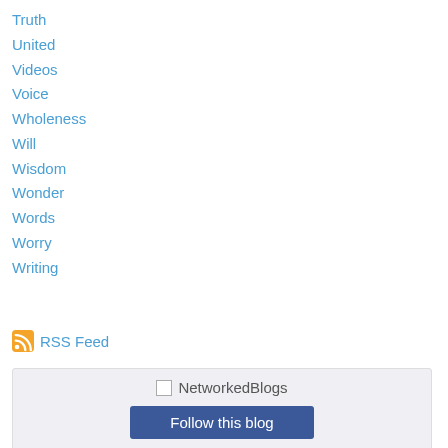Truth
United
Videos
Voice
Wholeness
Will
Wisdom
Wonder
Words
Worry
Writing
RSS Feed
NetworkedBlogs Follow this blog